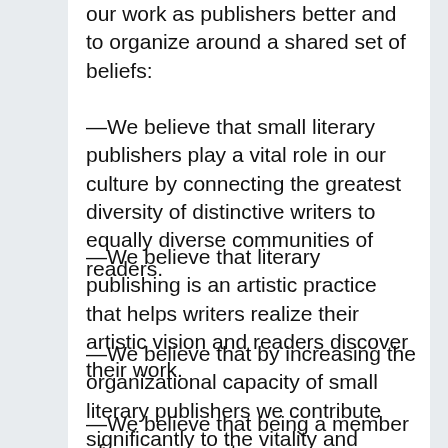our work as publishers better and to organize around a shared set of beliefs:
—We believe that small literary publishers play a vital role in our culture by connecting the greatest diversity of distinctive writers to equally diverse communities of readers.
—We believe that literary publishing is an artistic practice that helps writers realize their artistic vision and readers discover their work.
—We believe that by increasing the organizational capacity of small literary publishers we contribute significantly to the vitality and vibrancy of our literary culture.
—We believe that being a member of our community means participating in an environment of mutual